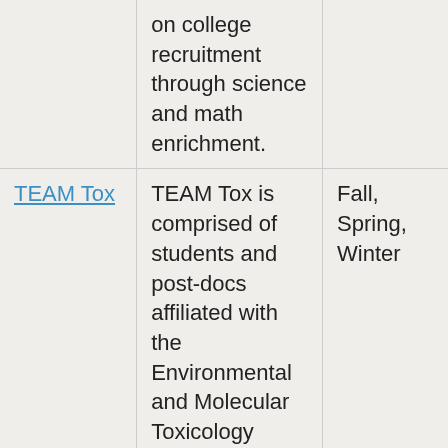|  | Description | Terms |
| --- | --- | --- |
|  | on college recruitment through science and math enrichment. |  |
| TEAM Tox | TEAM Tox is comprised of students and post-docs affiliated with the Environmental and Molecular Toxicology department who combine their efforts to facilitate K-12 educators, introduce kids and teenagers to | Fall, Spring, Winter |